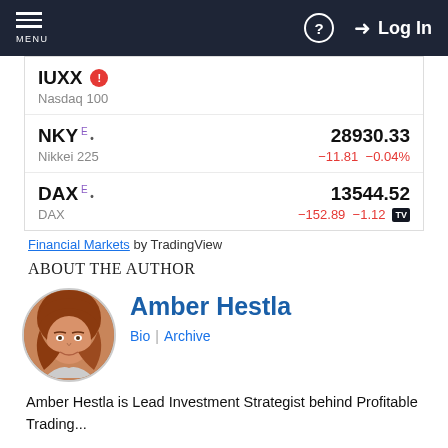MENU | ? | Log In
| IUXX ⚠ | Nasdaq 100 |  |  |
| NKY E • | Nikkei 225 | 28930.33 | −11.81 −0.04% |
| DAX E • | DAX | 13544.52 | −152.89 −1.12... |
Financial Markets by TradingView
ABOUT THE AUTHOR
[Figure (photo): Circular portrait photo of Amber Hestla, a woman with auburn/red hair, smiling.]
Amber Hestla
Bio | Archive
Amber Hestla is Lead Investment Strategist behind Profitable